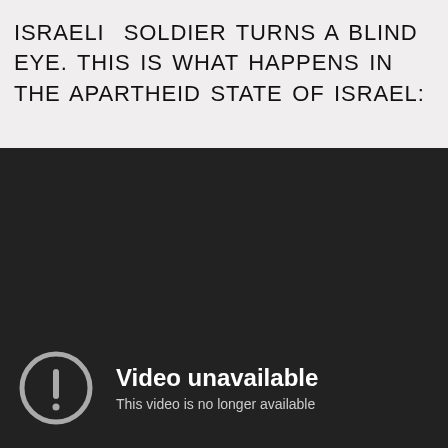ISRAELI SOLDIER TURNS A BLIND EYE. THIS IS WHAT HAPPENS IN THE APARTHEID STATE OF ISRAEL:
[Figure (screenshot): A dark/black video player showing a 'Video unavailable' message with a circular warning icon and the text 'This video is no longer available' at the bottom.]